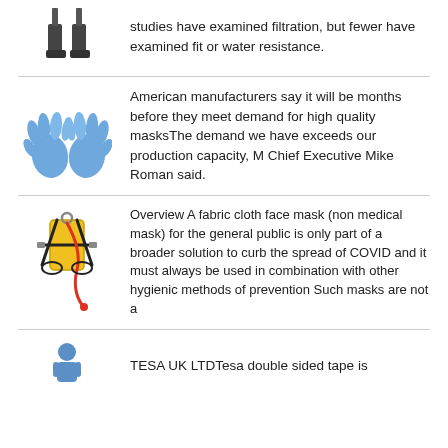[Figure (illustration): Safety boots / PPE icon at top]
studies have examined filtration, but fewer have examined fit or water resistance.
[Figure (illustration): Blue nitrile gloves]
American manufacturers say it will be months before they meet demand for high quality masksThe demand we have exceeds our production capacity, M Chief Executive Mike Roman said.
[Figure (illustration): Yellow and black safety harness with red lanyard]
Overview A fabric cloth face mask (non medical mask) for the general public is only part of a broader solution to curb the spread of COVID and it must always be used in combination with other hygienic methods of prevention Such masks are not a
[Figure (illustration): Blue figure / person icon at bottom]
TESA UK LTDTesa double sided tape is